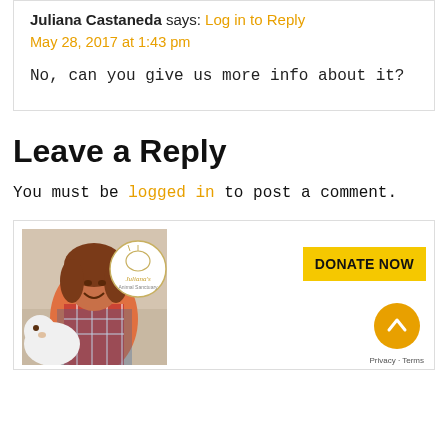Juliana Castaneda says: Log in to Reply
May 28, 2017 at 1:43 pm
No, can you give us more info about it?
Leave a Reply
You must be logged in to post a comment.
[Figure (photo): A woman smiling and hugging a white fluffy dog. There is a Juliana's Animal Sanctuary logo circle and a 'DONATE NOW' yellow banner overlay. A scroll-to-top button and Privacy/Terms link are also visible.]